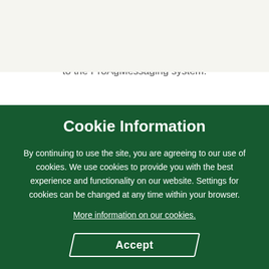[Figure (logo): PRO AG logo — white text on dark green background with parallelogram shapes]
changing crop insurance industry by subscribing to the ProAgMessaging system.
Cookie Information
By continuing to use the site, you are agreeing to our use of cookies. We use cookies to provide you with the best experience and functionality on our website. Settings for cookies can be changed at any time within your browser.
More information on our cookies.
Accept